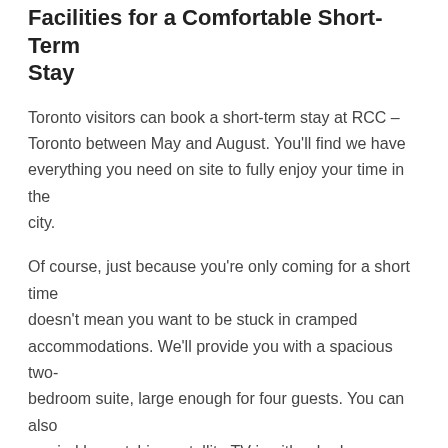Facilities for a Comfortable Short-Term Stay
Toronto visitors can book a short-term stay at RCC – Toronto between May and August. You'll find we have everything you need on site to fully enjoy your time in the city.
Of course, just because you're only coming for a short time doesn't mean you want to be stuck in cramped accommodations. We'll provide you with a spacious two-bedroom suite, large enough for four guests. You can also unwind by watching satellite TV in either bedroom, enjoy the privacy of your own three-piece bathroom, and prepare light meals or store snacks in your kitchenette.
Rely on Us for Everything You Need
Our staff will take care of all your needs while you stay with us. With a front desk that remains open 24 hours a day, you can even check in to our accommodation late at night. Staff